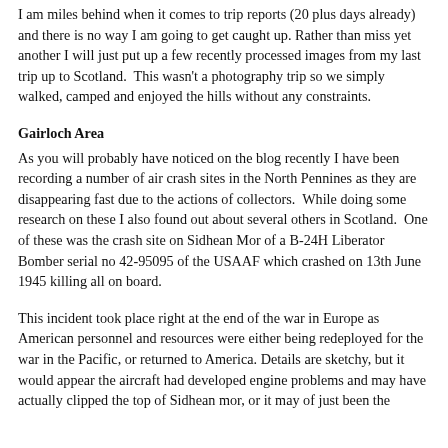I am miles behind when it comes to trip reports (20 plus days already) and there is no way I am going to get caught up. Rather than miss yet another I will just put up a few recently processed images from my last trip up to Scotland.  This wasn't a photography trip so we simply walked, camped and enjoyed the hills without any constraints.
Gairloch Area
As you will probably have noticed on the blog recently I have been recording a number of air crash sites in the North Pennines as they are disappearing fast due to the actions of collectors.  While doing some research on these I also found out about several others in Scotland.  One of these was the crash site on Sidhean Mor of a B-24H Liberator Bomber serial no 42-95095 of the USAAF which crashed on 13th June 1945 killing all on board.
This incident took place right at the end of the war in Europe as American personnel and resources were either being redeployed for the war in the Pacific, or returned to America. Details are sketchy, but it would appear the aircraft had developed engine problems and may have actually clipped the top of Sidhean mor, or it may of just been the...